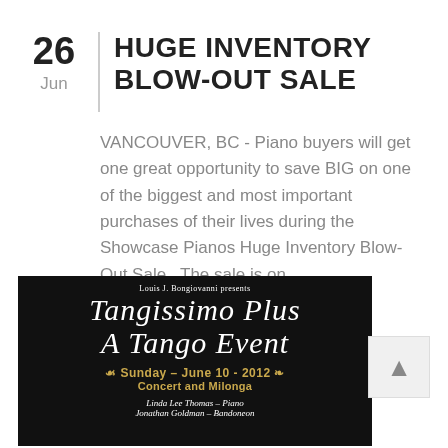HUGE INVENTORY BLOW-OUT SALE
VANCOUVER, BC - Piano buyers will get one great opportunity to save BIG on one of the biggest and most important purchases of their lives during the Showcase Pianos Huge Inventory Blow-Out Sale.  The sale is on...
[Figure (photo): Event poster on black background: 'Louis J. Bongiovanni presents Tangissimo Plus A Tango Event, Sunday – June 10 - 2012, Concert and Milonga, Linda Lee Thomas – Piano, Jonathan Goldman – Bandoneon']